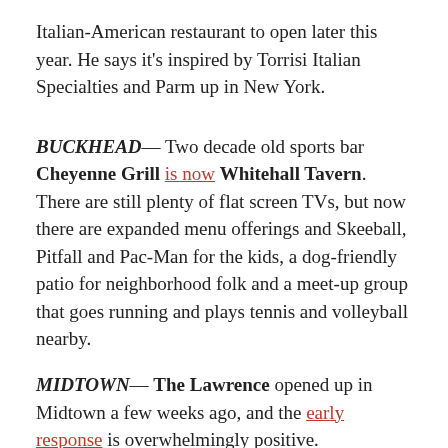Italian-American restaurant to open later this year. He says it's inspired by Torrisi Italian Specialties and Parm up in New York.
BUCKHEAD— Two decade old sports bar Cheyenne Grill is now Whitehall Tavern. There are still plenty of flat screen TVs, but now there are expanded menu offerings and Skeeball, Pitfall and Pac-Man for the kids, a dog-friendly patio for neighborhood folk and a meet-up group that goes running and plays tennis and volleyball nearby.
MIDTOWN— The Lawrence opened up in Midtown a few weeks ago, and the early response is overwhelmingly positive.